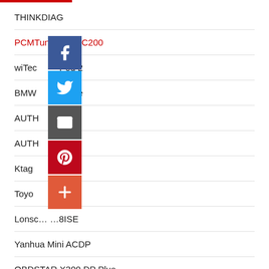THINKDIAG
PCMTuner CG FC200
wiTec Pod 2
BMW cable
AUTEL 3
AUTEL 3
Ktag
Toyota ream
Lonsc... ...8ISE
Yanhua Mini ACDP
OBDSTAR X300 DP Plus
Xprog
Carprog
Honda HDS